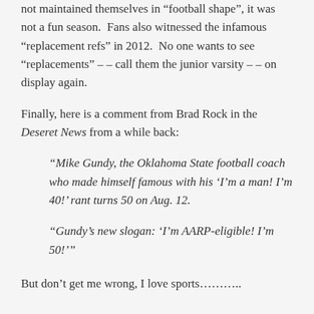not maintained themselves in football shape, it was not a fun season.  Fans also witnessed the infamous “replacement refs” in 2012.  No one wants to see “replacements” – – call them the junior varsity – – on display again.
Finally, here is a comment from Brad Rock in the Deseret News from a while back:
“Mike Gundy, the Oklahoma State football coach who made himself famous with his ‘I’m a man! I’m 40!’ rant turns 50 on Aug. 12.
“Gundy’s new slogan: ‘I’m AARP-eligible! I’m 50!’”
But don’t get me wrong, I love sports………..